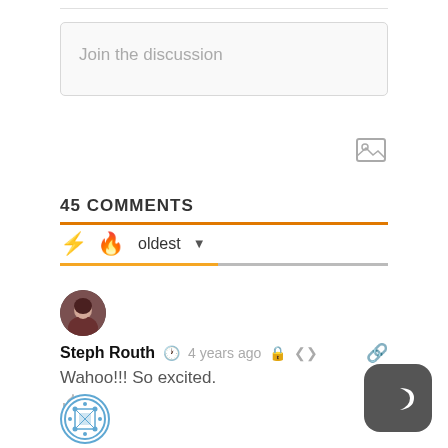Join the discussion
45 COMMENTS
oldest
Steph Routh • 4 years ago
Wahoo!!! So excited.
0